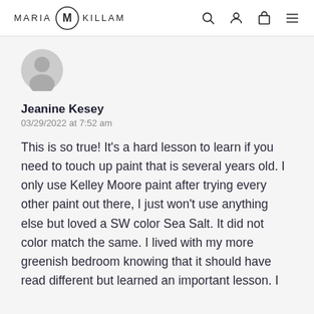MARIA KILLAM
[Figure (illustration): Grey default user avatar circle icon]
Jeanine Kesey
03/29/2022 at 7:52 am
This is so true! It’s a hard lesson to learn if you need to touch up paint that is several years old. I only use Kelley Moore paint after trying every other paint out there, I just won’t use anything else but loved a SW color Sea Salt. It did not color match the same. I lived with my more greenish bedroom knowing that it should have read different but learned an important lesson. I